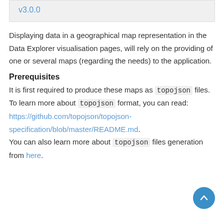v3.0.0
Displaying data in a geographical map representation in the Data Explorer visualisation pages, will rely on the providing of one or several maps (regarding the needs) to the application.
Prerequisites
It is first required to produce these maps as topojson files. To learn more about topojson format, you can read: https://github.com/topojson/topojson-specification/blob/master/README.md. You can also learn more about topojson files generation from here.